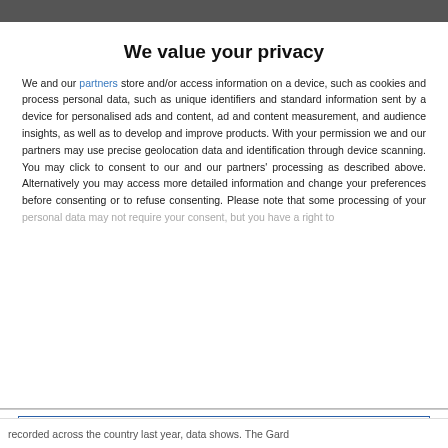We value your privacy
We and our partners store and/or access information on a device, such as cookies and process personal data, such as unique identifiers and standard information sent by a device for personalised ads and content, ad and content measurement, and audience insights, as well as to develop and improve products. With your permission we and our partners may use precise geolocation data and identification through device scanning. You may click to consent to our and our partners' processing as described above. Alternatively you may access more detailed information and change your preferences before consenting or to refuse consenting. Please note that some processing of your personal data may not require your consent, but you have a right to
AGREE
MORE OPTIONS
recorded across the country last year, data shows. The Gard